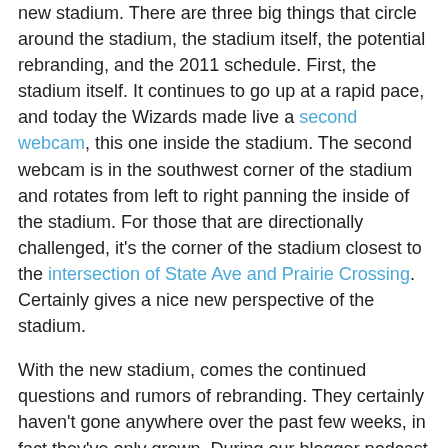new stadium. There are three big things that circle around the stadium, the stadium itself, the potential rebranding, and the 2011 schedule. First, the stadium itself. It continues to go up at a rapid pace, and today the Wizards made live a second webcam, this one inside the stadium. The second webcam is in the southwest corner of the stadium and rotates from left to right panning the inside of the stadium. For those that are directionally challenged, it's the corner of the stadium closest to the intersection of State Ave and Prairie Crossing. Certainly gives a nice new perspective of the stadium.
With the new stadium, comes the continued questions and rumors of rebranding. They certainly haven't gone anywhere over the past few weeks, in fact they've only grown. During our blogger podcast the other week we discussed it at great length and all the little signs that one would think would point to rebranding. From the scarf color for season ticket holders this year, to the light blue/dark blue trusses that are going up at the team's stadium that were posted on the KC Soccer Stadium page on Facebook, there are plenty of rumors of the potential color change out there. The renaming rumors have alt... ... with the Sporting KC rumor ... still